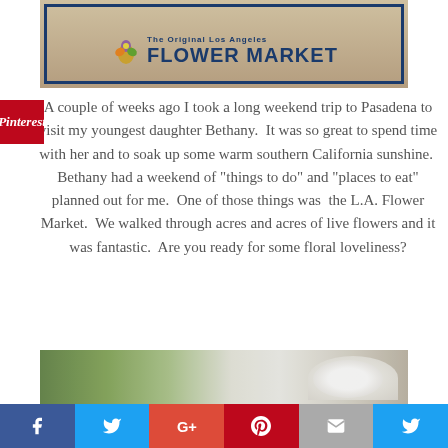[Figure (photo): Sign for The Original Los Angeles Flower Market with teal text on a beige/stone background, with a flower logo on the left]
A couple of weeks ago I took a long weekend trip to Pasadena to visit my youngest daughter Bethany.  It was so great to spend time with her and to soak up some warm southern California sunshine.  Bethany had a weekend of “things to do” and “places to eat” planned out for me.  One of those things was  the L.A. Flower Market.  We walked through acres and acres of live flowers and it was fantastic.  Are you ready for some floral loveliness?
[Figure (photo): Partial photo of the L.A. Flower Market interior showing white orchids and colorful flowers on display]
Facebook | Twitter | Google+ | Pinterest | Email | Twitter